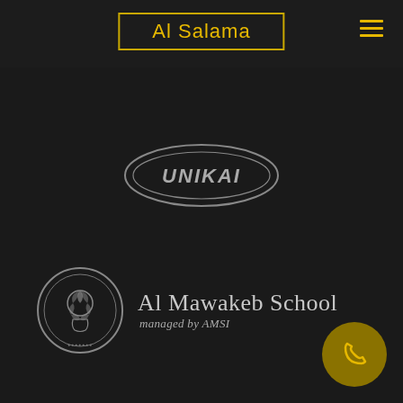Al Salama
[Figure (logo): UNIKAI oval logo in silver/grey on dark background]
[Figure (logo): Al Mawakeb School managed by AMSI logo with circular emblem on dark background]
[Figure (other): Gold/yellow phone call icon in circular dark gold button, bottom right]